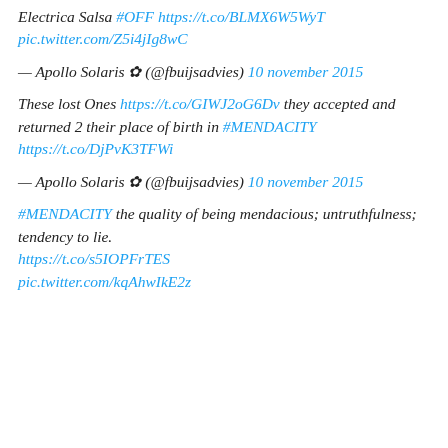Electrica Salsa #OFF https://t.co/BLMX6W5WyT pic.twitter.com/Z5i4jIg8wC
— Apollo Solaris ✿ (@fbuijsadvies) 10 november 2015
These lost Ones https://t.co/GIWJ2oG6Dv they accepted and returned 2 their place of birth in #MENDACITY https://t.co/DjPvK3TFWi
— Apollo Solaris ✿ (@fbuijsadvies) 10 november 2015
#MENDACITY the quality of being mendacious; untruthfulness; tendency to lie. https://t.co/s5IOPFrTES pic.twitter.com/kqAhwIkE2z